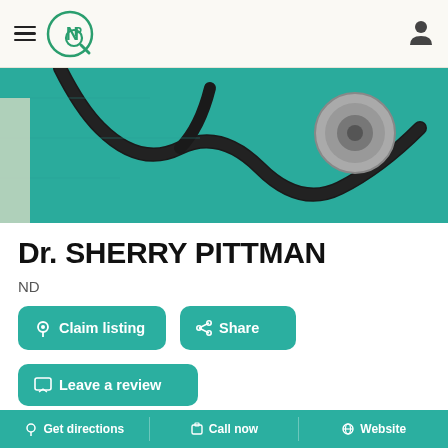NP logo and navigation header
[Figure (photo): Close-up photo of a stethoscope on teal/green medical scrubs fabric, used as a hero banner image]
Dr. SHERRY PITTMAN
ND
Claim listing
Share
Leave a review
Profile
Reviews 0
Get directions  Call now  Website